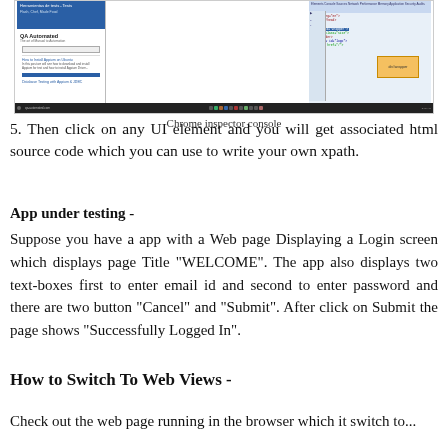[Figure (screenshot): Chrome inspector console showing a website on the left panel and browser developer tools on the right panel with HTML source code and an orange highlighted element box]
Chrome inspector console
5. Then click on any UI element and you will get associated html source code which you can use to write your own xpath.
App under testing -
Suppose you have a app with a Web page Displaying a Login screen which displays page Title "WELCOME". The app also displays two text-boxes first to enter email id and second to enter password and there are two button "Cancel" and "Submit". After click on Submit the page shows "Successfully Logged In".
How to Switch To Web Views -
Check out the web page running in the browser which it switch to...